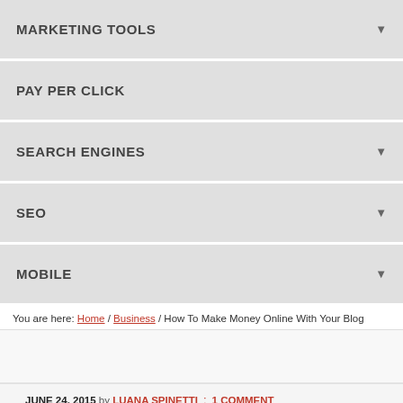MARKETING TOOLS ▼
PAY PER CLICK
SEARCH ENGINES ▼
SEO ▼
MOBILE ▼
You are here: Home / Business / How To Make Money Online With Your Blog
JUNE 24, 2015 by LUANA SPINETTI : 1 COMMENT
How To Make Money Online With Your Blog